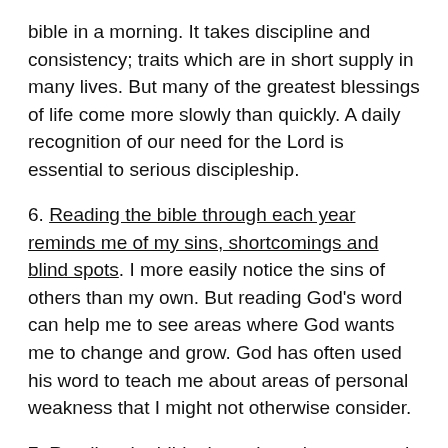bible in a morning. It takes discipline and consistency; traits which are in short supply in many lives. But many of the greatest blessings of life come more slowly than quickly. A daily recognition of our need for the Lord is essential to serious discipleship.
6. Reading the bible through each year reminds me of my sins, shortcomings and blind spots. I more easily notice the sins of others than my own. But reading God's word can help me to see areas where God wants me to change and grow. God has often used his word to teach me about areas of personal weakness that I might not otherwise consider.
7. Reading the bible through each year guards me from complacency, apathy and stagnation. We never arrive at the end of our discipleship journey until reaching the end